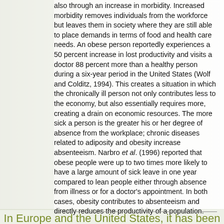also through an increase in morbidity. Increased morbidity removes individuals from the workforce but leaves them in society where they are still able to place demands in terms of food and health care needs. An obese person reportedly experiences a 50 percent increase in lost productivity and visits a doctor 88 percent more than a healthy person during a six-year period in the United States (Wolf and Colditz, 1994). This creates a situation in which the chronically ill person not only contributes less to the economy, but also essentially requires more, creating a drain on economic resources. The more sick a person is the greater his or her degree of absence from the workplace; chronic diseases related to adiposity and obesity increase absenteeism. Narbro et al. (1996) reported that obese people were up to two times more likely to have a large amount of sick leave in one year compared to lean people either through absence from illness or for a doctor's appointment. In both cases, obesity contributes to absenteeism and directly reduces the productivity of a population.
In Europe and the United States, it has been shown that obesity reduces a person's overall activity. It affects productivity and increases morbidity.